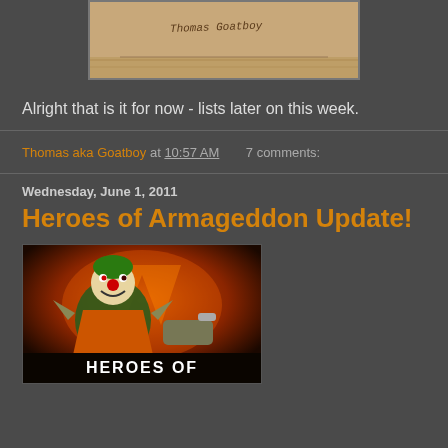[Figure (photo): Partial view of a tan/khaki bag or fabric item with text written on it reading 'Thomas Goatboy']
Alright that is it for now - lists later on this week.
Thomas aka Goatboy at 10:57 AM   7 comments:
Wednesday, June 1, 2011
Heroes of Armageddon Update!
[Figure (illustration): Comic-style illustration of a clown-like Warhammer character in orange and green armor with the text 'HEROES OF' visible at the bottom, part of the Heroes of Armageddon project artwork]